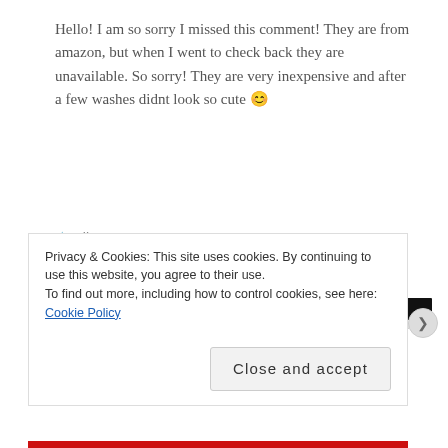Hello! I am so sorry I missed this comment! They are from amazon, but when I went to check back they are unavailable. So sorry! They are very inexpensive and after a few washes didnt look so cute 😊
★ Like
Reply
[Figure (other): Black redacted advertisement bar]
Privacy & Cookies: This site uses cookies. By continuing to use this website, you agree to their use.
To find out more, including how to control cookies, see here: Cookie Policy
Close and accept